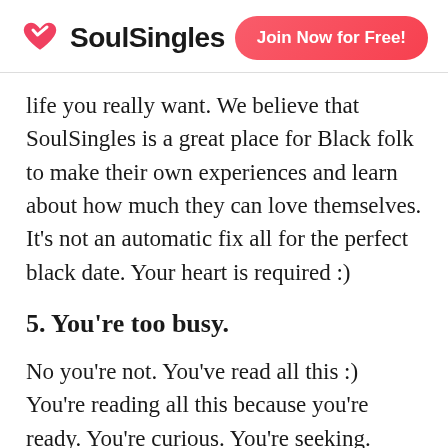SoulSingles | Join Now for Free!
life you really want. We believe that SoulSingles is a great place for Black folk to make their own experiences and learn about how much they can love themselves. It's not an automatic fix all for the perfect black date. Your heart is required :)
5. You're too busy.
No you're not. You've read all this :) You're reading all this because you're ready. You're curious. You're seeking. That's why you're